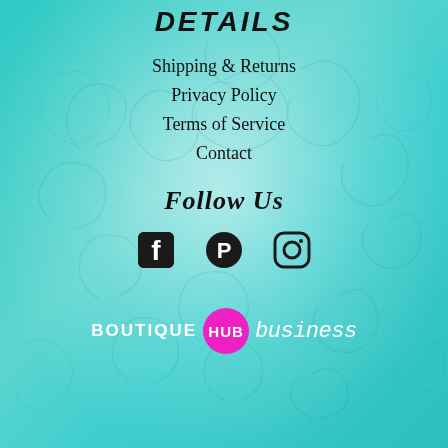DETAILS
Shipping & Returns
Privacy Policy
Terms of Service
Contact
Follow Us
[Figure (illustration): Three social media icons: Facebook, Pinterest, and Instagram]
[Figure (logo): Boutique Hub Business logo — white text BOUTIQUE, pink circle with HUB, script text business]